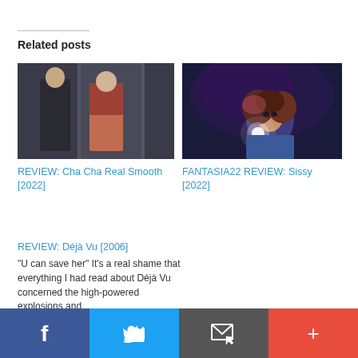Related posts
[Figure (photo): Two people facing each other in a doorway, movie still from Cha Cha Real Smooth 2022]
REVIEW: Cha Cha Real Smooth [2022]
[Figure (photo): Person with curly hair holding a glowing light, movie still from Sissy 2022]
FANTASIA22 REVIEW: Sissy [2022]
REVIEW: Déjà Vu [2006]
"U can save her" It's a real shame that everything I had read about Déjà Vu concerned the high-powered explosions and